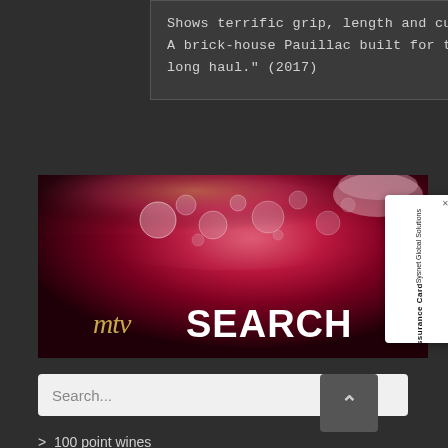Shows terrific grip, length and cut. A brick-house Pauillac built for the long haul." (2017)
[Figure (photo): Wine banner image showing close-up of red wine with bubbles, featuring 'mtv SEARCH' branding logo in gold and white text on dark red wine background]
[Figure (other): Sysnet Global Solutions Assurance Card overlay widget with orange arrow button]
Search...
> 100 point wines